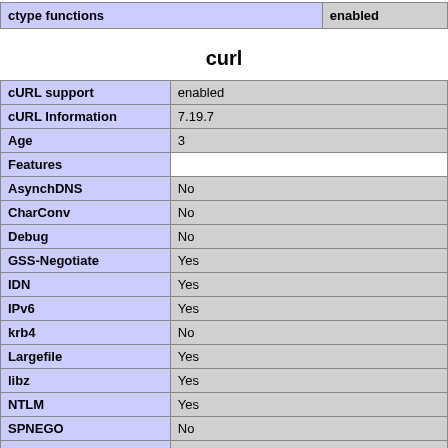| ctype functions | enabled |
| --- | --- |
| ctype functions | enabled |
curl
| Feature | Value |
| --- | --- |
| cURL support | enabled |
| cURL Information | 7.19.7 |
| Age | 3 |
| Features |  |
| AsynchDNS | No |
| CharConv | No |
| Debug | No |
| GSS-Negotiate | Yes |
| IDN | Yes |
| IPv6 | Yes |
| krb4 | No |
| Largefile | Yes |
| libz | Yes |
| NTLM | Yes |
| SPNEGO | No |
| SSL | Yes |